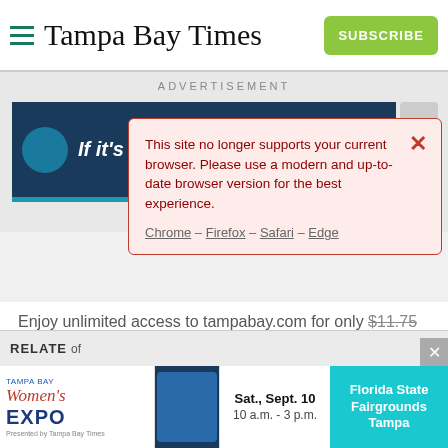Tampa Bay Times
ADVERTISEMENT
If it's your storm
This site no longer supports your current browser. Please use a modern and up-to-date browser version for the best experience.
Chrome – Firefox – Safari – Edge
Enjoy unlimited access to tampabay.com for only $11.75 $0.99 for the first month.
Subscribe
Log In
Interested in print delivery? Subscribe here →
RELATE... of monkey...
[Figure (screenshot): Tampa Bay Women's Expo advertisement banner with date Sat., Sept. 10, 10 a.m. - 3 p.m. at Florida State Fairgrounds Tampa]